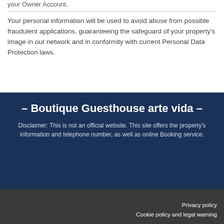your Owner Account.
Your personal information will be used to avoid abuse from possible fraudulent applications, guaranteeing the safeguard of your property's image in our network and in conformity with current Personal Data Protection laws.
– Boutique Guesthouse arte vida –
Disclaimer: This is not an official website. This site offers the property's information and telephone number, as well as online Booking service.
Privacy policy
Cookie policy and legal warning